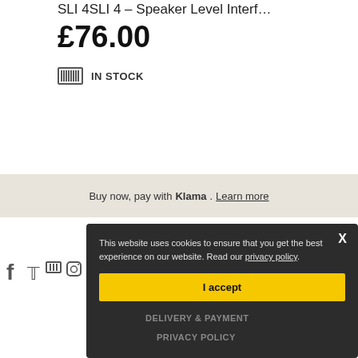SLI 4SLI 4 – Speaker Level Interf…
£76.00
IN STOCK
Buy now, pay with Klarna. Learn more
[Figure (screenshot): Social media icons (Facebook, Twitter, YouTube, Instagram) visible behind cookie overlay]
This website uses cookies to ensure that you get the best experience on our website. Read our privacy policy.
I accept
DELIVERY & PAYMENT
PRIVACY POLICY